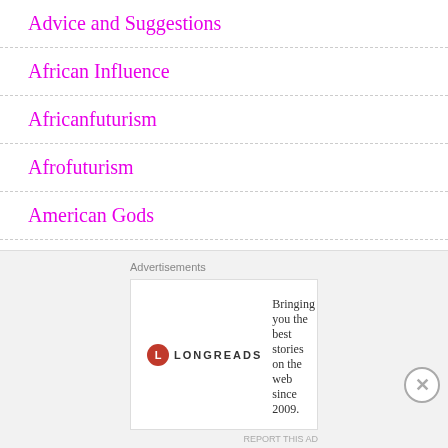Advice and Suggestions
African Influence
Africanfuturism
Afrofuturism
American Gods
American History
American Society
Anime
ARCs
Advertisements
[Figure (logo): Longreads logo with red circle and L, text: Bringing you the best stories on the web since 2009.]